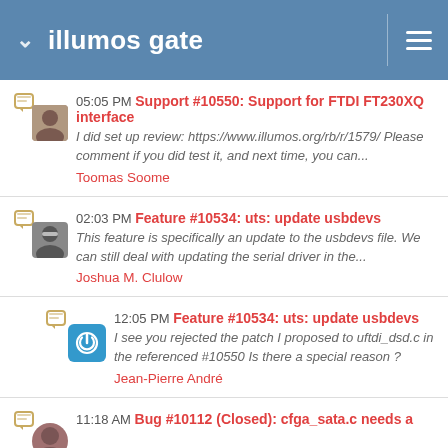illumos gate
05:05 PM Support #10550: Support for FTDI FT230XQ interface
I did set up review: https://www.illumos.org/rb/r/1579/ Please comment if you did test it, and next time, you can...
Toomas Soome
02:03 PM Feature #10534: uts: update usbdevs
This feature is specifically an update to the usbdevs file. We can still deal with updating the serial driver in the...
Joshua M. Clulow
12:05 PM Feature #10534: uts: update usbdevs
I see you rejected the patch I proposed to uftdi_dsd.c in the referenced #10550 Is there a special reason ?
Jean-Pierre André
11:18 AM Bug #10112 (Closed): cfga_sata.c needs a